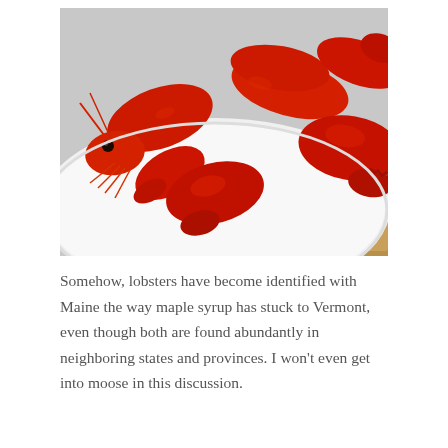[Figure (photo): Close-up photograph of two bright red cooked lobsters with large claws, displayed on a white plate with a wooden surface visible in the lower right corner.]
Somehow, lobsters have become identified with Maine the way maple syrup has stuck to Vermont, even though both are found abundantly in neighboring states and provinces. I won't even get into moose in this discussion.